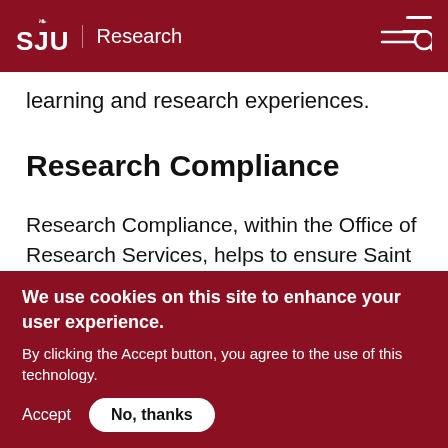SJU Research
learning and research experiences.
Research Compliance
Research Compliance, within the Office of Research Services, helps to ensure Saint Joseph's University faculty, staff and students involved in conducting research are in compliance with the complex web of regulatory requirements that govern research. The University is committed to the conduct of research
We use cookies on this site to enhance your user experience.
By clicking the Accept button, you agree to the use of this technology.
Accept   No, thanks